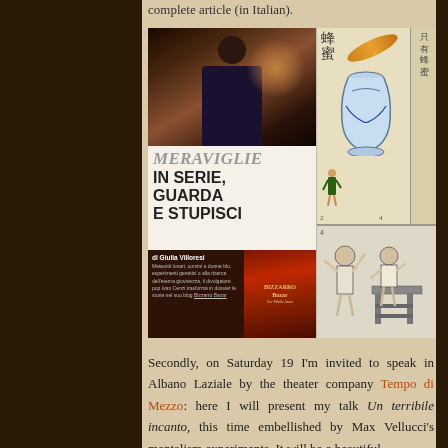complete article (in Italian).
[Figure (photo): Composite image showing a magazine article titled 'MERAVIGLIE IN SERIE, GUARDA E STUPISCI' by Giulia Villoresi, with a photo of a man at a table, a bottle product image, Chinese illustrations of a vase with honey and a merchant scene]
Secondly, on Saturday 19 I'm invited to speak in Albano Laziale by the theater company Tempo di Mezzo: here I will present my talk Un terribile incanto, this time embellished by Max Vellucci's mentalism experiments. It will be a beautiful